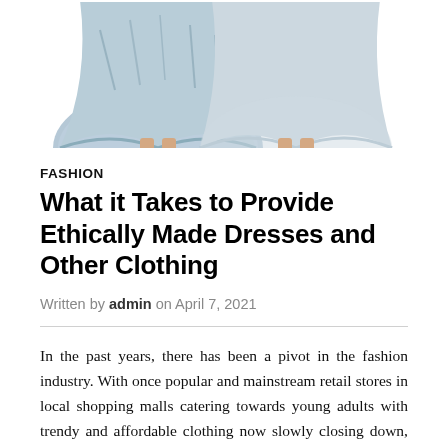[Figure (photo): Two light blue/gray dresses or skirts photographed from the waist down, showing the flared hemlines. Left dress has a tie-dye or printed pattern, right dress is plain light gray. Both show legs/feet at the bottom.]
FASHION
What it Takes to Provide Ethically Made Dresses and Other Clothing
Written by admin on April 7, 2021
In the past years, there has been a pivot in the fashion industry. With once popular and mainstream retail stores in local shopping malls catering towards young adults with trendy and affordable clothing now slowly closing down, there has been a shift in how we think